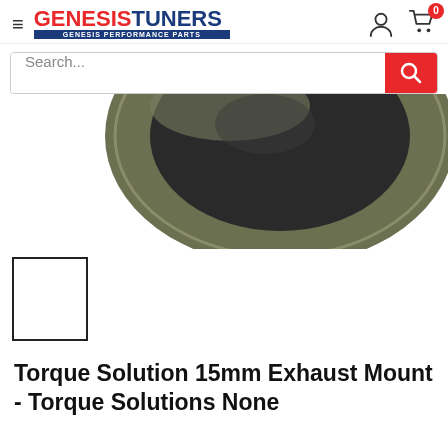[Figure (logo): Genesis Tuners logo with hamburger menu, person icon and cart icon with badge showing 0]
[Figure (screenshot): Search bar with placeholder text 'Search...' and red search button]
[Figure (photo): Close-up photo of a round metal exhaust mount part, dark olive/gunmetal color, viewed from above showing circular ring shape]
[Figure (photo): Small thumbnail image placeholder with black border, empty white interior]
Torque Solution 15mm Exhaust Mount - Torque Solutions None